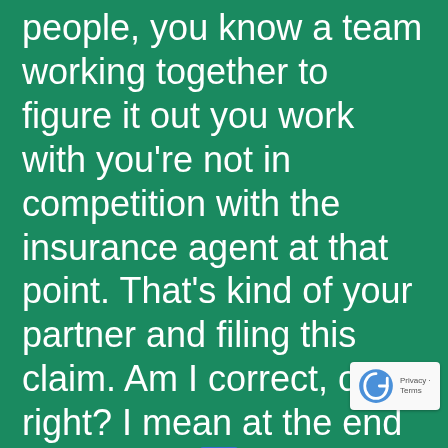people, you know a team working together to figure it out you work with you're not in competition with the insurance agent at that point. That's kind of your partner and filing this claim. Am I correct, or right? I mean at the end of the day; I'm trying to help the policyholder. It's nothing against the agent cells the policy and you know, that's what they do. Yeah, and other thing I want to point out is, you know, the policies that le... document, you know drafted b... attorneys. So even if the agent